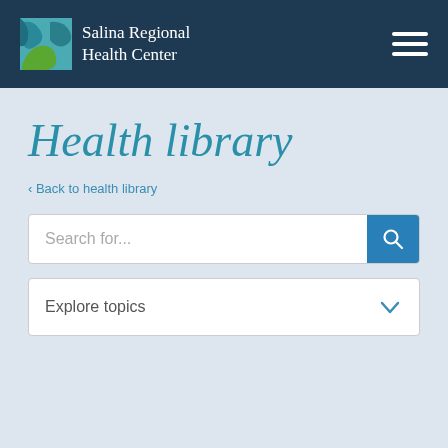Salina Regional Health Center
Health library
< Back to health library
Search for...
Explore topics